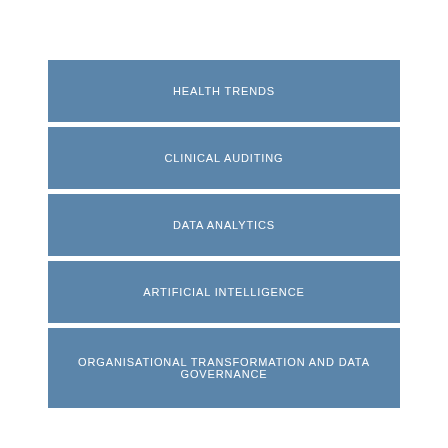[Figure (infographic): Five stacked blue rectangular boxes with white uppercase text labels: HEALTH TRENDS, CLINICAL AUDITING, DATA ANALYTICS, ARTIFICIAL INTELLIGENCE, ORGANISATIONAL TRANSFORMATION AND DATA GOVERNANCE]